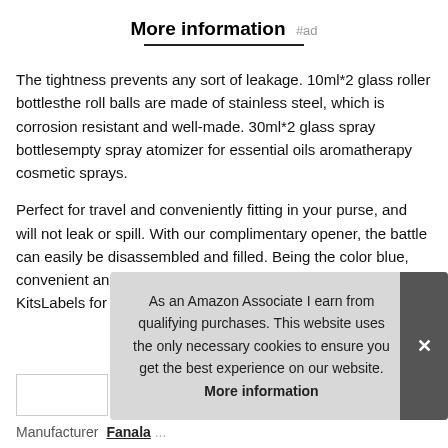More information #ad
The tightness prevents any sort of leakage. 10ml*2 glass roller bottlesthe roll balls are made of stainless steel, which is corrosion resistant and well-made. 30ml*2 glass spray bottlesempty spray atomizer for essential oils aromatherapy cosmetic sprays.
Perfect for travel and conveniently fitting in your purse, and will not leak or spill. With our complimentary opener, the battle can easily be disassembled and filled. Being the color blue, convenient and refillable. Refillable cosmetic containers KitsLabels for Marking. Funnels for Filling Liquids. Any prob
As an Amazon Associate I earn from qualifying purchases. This website uses the only necessary cookies to ensure you get the best experience on our website. More information
Manufacturer  Fanala ...